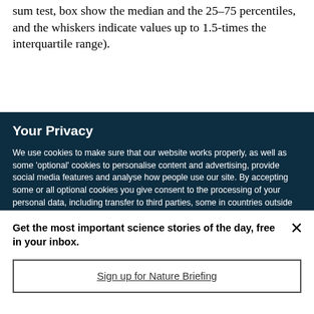sum test, box show the median and the 25–75 percentiles, and the whiskers indicate values up to 1.5-times the interquartile range).
Your Privacy
We use cookies to make sure that our website works properly, as well as some 'optional' cookies to personalise content and advertising, provide social media features and analyse how people use our site. By accepting some or all optional cookies you give consent to the processing of your personal data, including transfer to third parties, some in countries outside of the European Economic Area that do not offer the same data protection standards as the country where you live. You can decide which optional cookies to accept by clicking on 'Manage Settings', where you can
Get the most important science stories of the day, free in your inbox.
Sign up for Nature Briefing